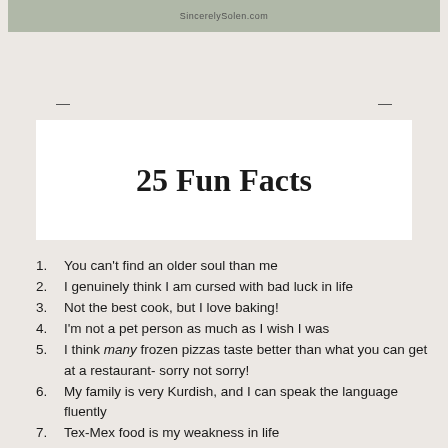[Figure (photo): Partial photo of people outdoors with watermark 'SincerelySolen.com']
25 Fun Facts
You can't find an older soul than me
I genuinely think I am cursed with bad luck in life
Not the best cook, but I love baking!
I'm not a pet person as much as I wish I was
I think many frozen pizzas taste better than what you can get at a restaurant- sorry not sorry!
My family is very Kurdish, and I can speak the language fluently
Tex-Mex food is my weakness in life